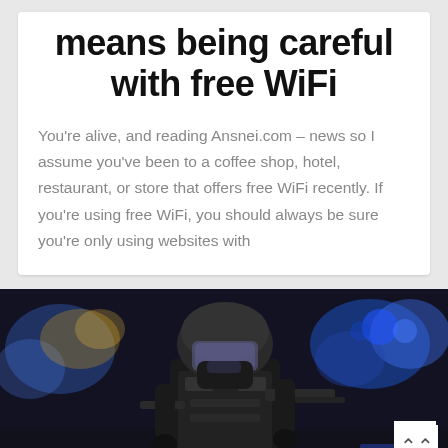means being careful with free WiFi
You're alive, and reading Ansnei.com – news so I assume you've been to a coffee shop, hotel, restaurant, or store that offers free WiFi recently. If you're using free WiFi, you should always be sure you're only using websites with
[Figure (photo): A police officer or tactical law enforcement officer in full riot gear including helmet with visor, face mask, and body armor, holding a weapon. Blue emergency lights visible in the background at night.]